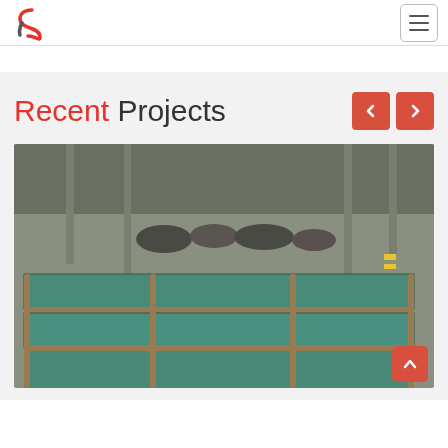[Figure (logo): Company logo with stylized S letter in red and gray]
[Figure (other): Hamburger menu button icon with three horizontal lines]
Recent Projects
[Figure (photo): Industrial warehouse interior showing large flat metal sheets or panels covered with teal/green protective covers and brown tubing, with columns and roof structure visible in background]